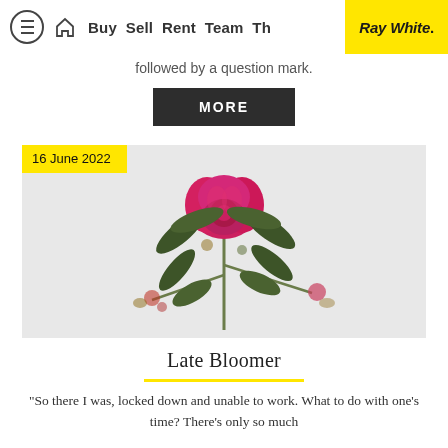Buy Sell Rent Team The... Ray White.
followed by a question mark.
MORE
[Figure (photo): Photograph of a rhododendron or similar pink flower with dark green leaves against a light grey background. Date badge overlay reads '16 June 2022'.]
Late Bloomer
“So there I was, locked down and unable to work. What to do with one’s time? There’s only so much